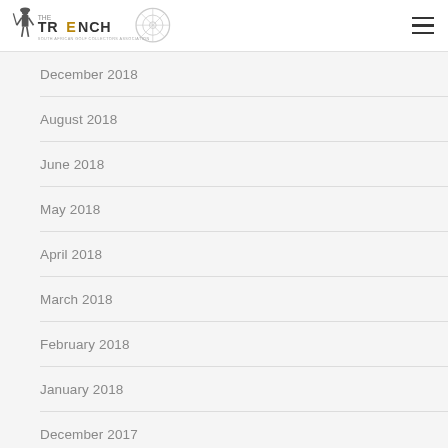THE TRENCH
December 2018
August 2018
June 2018
May 2018
April 2018
March 2018
February 2018
January 2018
December 2017